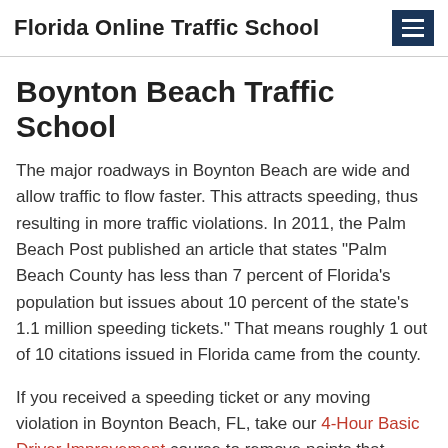Florida Online Traffic School
Boynton Beach Traffic School
The major roadways in Boynton Beach are wide and allow traffic to flow faster. This attracts speeding, thus resulting in more traffic violations. In 2011, the Palm Beach Post published an article that states "Palm Beach County has less than 7 percent of Florida's population but issues about 10 percent of the state's 1.1 million speeding tickets." That means roughly 1 out of 10 citations issued in Florida came from the county.
If you received a speeding ticket or any moving violation in Boynton Beach, FL, take our 4-Hour Basic Driver Improvement course to remove points that accrued from the infraction. After you have successfully finished the course, you can submit your